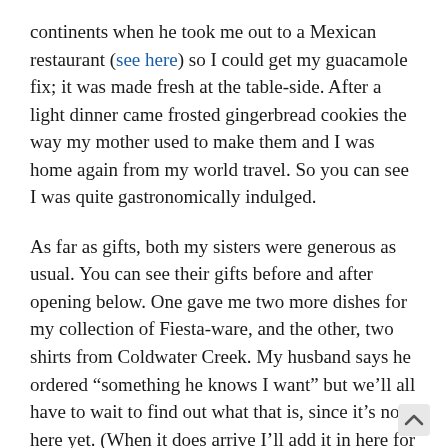continents when he took me out to a Mexican restaurant (see here) so I could get my guacamole fix; it was made fresh at the table-side. After a light dinner came frosted gingerbread cookies the way my mother used to make them and I was home again from my world travel. So you can see I was quite gastronomically indulged.
As far as gifts, both my sisters were generous as usual. You can see their gifts before and after opening below. One gave me two more dishes for my collection of Fiesta-ware, and the other, two shirts from Coldwater Creek. My husband says he ordered “something he knows I want” but we’ll all have to wait to find out what that is, since it’s not here yet. (When it does arrive I’ll add it in here for those that are curious.)
After reading sweet birthday wishes on Facebook, I capped off my evening with the last installment of a new version of Jane Austin’s Emma, on Masterpiece Theater. It is the best version I’ve seen yet. The actress that plays